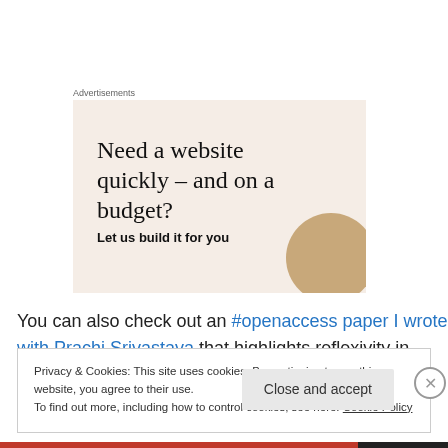Advertisements
[Figure (illustration): Advertisement banner with beige/cream background showing text 'Need a website quickly – and on a budget?' and subtext 'Let us build it for you' with a partial circle image in the bottom right corner.]
You can also check out an #openaccess paper I wrote with Prachi Srivastava that highlights reflexivity in analysis by
Privacy & Cookies: This site uses cookies. By continuing to use this website, you agree to their use.
To find out more, including how to control cookies, see here: Cookie Policy
Close and accept